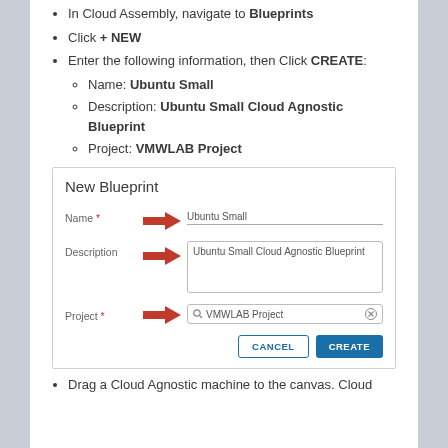In Cloud Assembly, navigate to Blueprints
Click + NEW
Enter the following information, then Click CREATE:
Name: Ubuntu Small
Description: Ubuntu Small Cloud Agnostic Blueprint
Project: VMWLAB Project
[Figure (screenshot): Screenshot of New Blueprint form with Name field filled with 'Ubuntu Small', Description field with 'Ubuntu Small Cloud Agnostic Blueprint', Project field with 'VMWLAB Project', and CANCEL/CREATE buttons. Red arrows point to each field.]
Drag a Cloud Agnostic machine to the canvas. Cloud